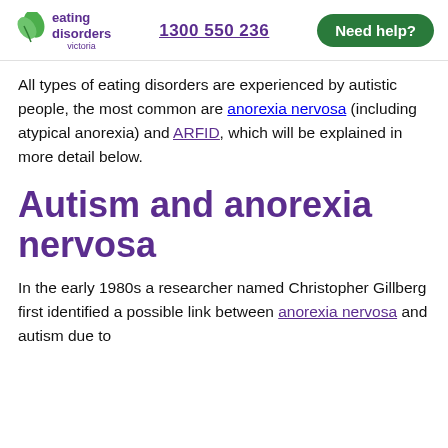eating disorders victoria | 1300 550 236 | Need help?
All types of eating disorders are experienced by autistic people, the most common are anorexia nervosa (including atypical anorexia) and ARFID, which will be explained in more detail below.
Autism and anorexia nervosa
In the early 1980s a researcher named Christopher Gillberg first identified a possible link between anorexia nervosa and autism due to